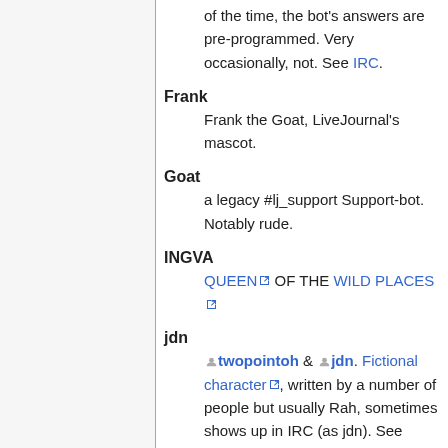of the time, the bot's answers are pre-programmed. Very occasionally, not. See IRC.
Frank
Frank the Goat, LiveJournal's mascot.
Goat
a legacy #lj_support Support-bot. Notably rude.
INGVA
QUEEN OF THE WILD PLACES
jdn
twopointoh & jdn. Fictional character, written by a number of people but usually Rah, sometimes shows up in IRC (as jdn). See Broken Wings and Mezzanine. (Warning: if you commence a scarily literary-crossed-with-lowbrow rant and find yourself losing your capital